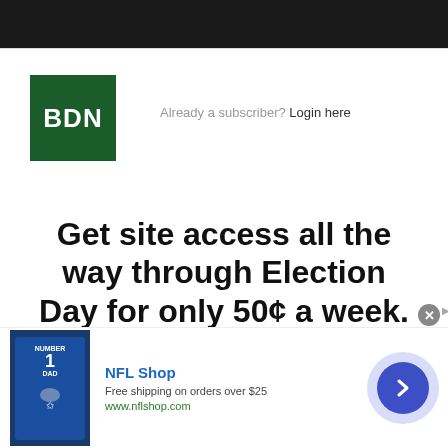[Figure (logo): BDN logo — white text on dark green square background]
Already a subscriber? Login here
Get site access all the way through Election Day for only 50¢ a week.
[Figure (infographic): NFL Shop advertisement banner with Dallas Cowboys jersey image, text 'NFL Shop', 'Free shipping on orders over $25', 'www.nflshop.com', close button, and forward arrow button]